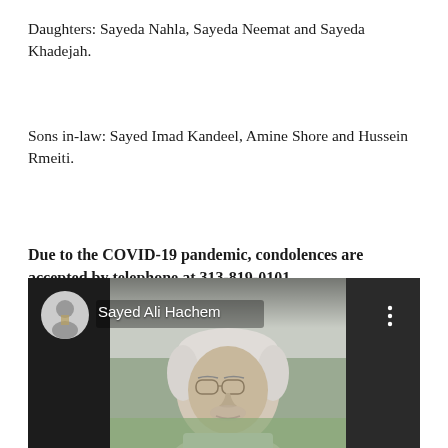Daughters: Sayeda Nahla, Sayeda Neemat and Sayeda Khadejah.
Sons in-law: Sayed Imad Kandeel, Amine Shore and Hussein Rmeiti.
Due to the COVID-19 pandemic, condolences are accepted by telephone at 313-819-0101
[Figure (screenshot): Video call screenshot showing an elderly man with glasses and white hair, seated, wearing a light shirt. Overlay shows avatar and channel name 'Sayed Ali Hachem' in top left corner with three-dot menu in top right.]